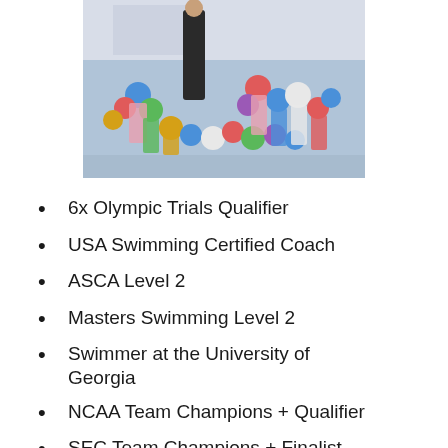[Figure (photo): Group photo of swimming coach with young swimmers wearing colorful swim caps gathered around at a pool.]
6x Olympic Trials Qualifier
USA Swimming Certified Coach
ASCA Level 2
Masters Swimming Level 2
Swimmer at the University of Georgia
NCAA Team Champions + Qualifier
SEC Team Champions + Finalist
NSCA CSCS and CPT Certified
Masters of Science in Strength and